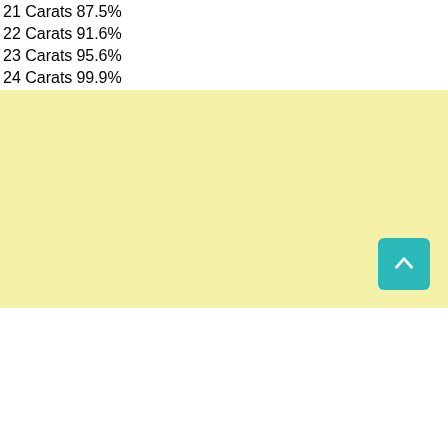| 21 Carats | 87.5% |
| 22 Carats | 91.6% |
| 23 Carats | 95.6% |
| 24 Carats | 99.9% |